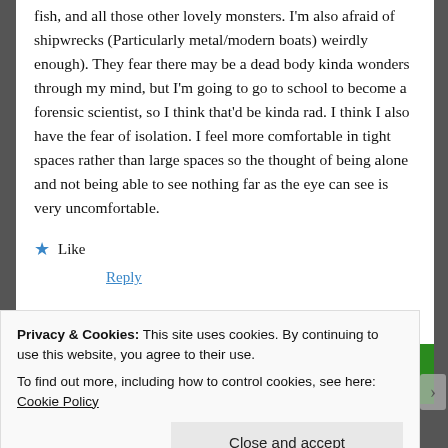fish, and all those other lovely monsters. I'm also afraid of shipwrecks (Particularly metal/modern boats) weirdly enough). They fear there may be a dead body kinda wonders through my mind, but I'm going to go to school to become a forensic scientist, so I think that'd be kinda rad. I think I also have the fear of isolation. I feel more comfortable in tight spaces rather than large spaces so the thought of being alone and not being able to see nothing far as the eye can see is very uncomfortable.
★ Like
Reply
[Figure (other): Advertisement bar with green blocks and text 'Back up your site']
Privacy & Cookies: This site uses cookies. By continuing to use this website, you agree to their use.
To find out more, including how to control cookies, see here: Cookie Policy
Close and accept